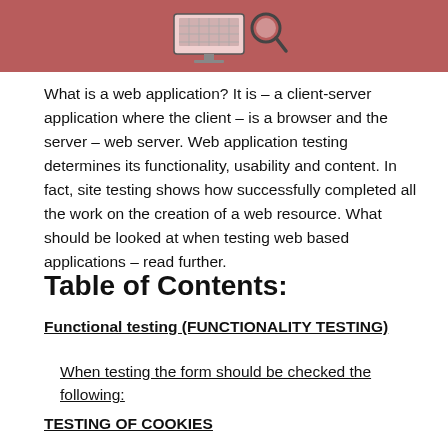[Figure (illustration): Header banner with a dark rose/salmon background color containing an icon illustration of a computer monitor with a magnifying glass, representing web application testing.]
What is a web application? It is - a client-server application where the client - is a browser and the server - web server. Web application testing determines its functionality, usability and content. In fact, site testing shows how successfully completed all the work on the creation of a web resource. What should be looked at when testing web based applications - read further.
Table of Contents:
Functional testing (FUNCTIONALITY TESTING)
When testing the form should be checked the following:
TESTING OF COOKIES